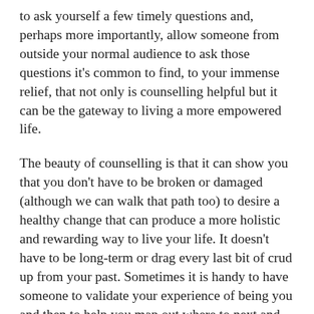to ask yourself a few timely questions and, perhaps more importantly, allow someone from outside your normal audience to ask those questions it's common to find, to your immense relief, that not only is counselling helpful but it can be the gateway to living a more empowered life.
The beauty of counselling is that it can show you that you don't have to be broken or damaged (although we can walk that path too) to desire a healthy change that can produce a more holistic and rewarding way to live your life. It doesn't have to be long-term or drag every last bit of crud up from your past. Sometimes it is handy to have someone to validate your experience of being you and then to help you map out where to next and how best to navigate and negotiate your way there.
I liken it to finding an experienced tour guide when you are down on your luck in a foreign city and you have been going around in circles in the Ancient Quarter for days. No matter